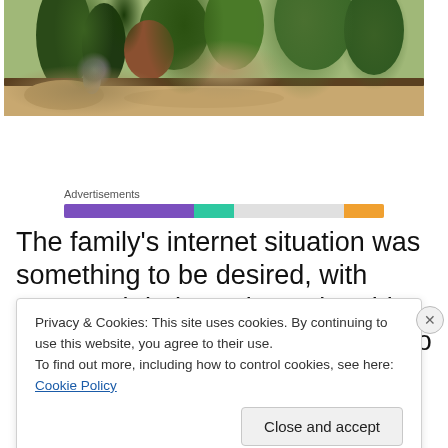[Figure (photo): Garden photo showing raised beds with gravel, stone statue of a bird, green conifers and shrubs in the background]
[Figure (infographic): Advertisements loading bar with purple, teal, grey and orange segments]
The family's internet situation was something to be desired, with mum and dad wanting to be able to work, and the kids wanting to go on-line with their games
Privacy & Cookies: This site uses cookies. By continuing to use this website, you agree to their use.
To find out more, including how to control cookies, see here: Cookie Policy
Close and accept